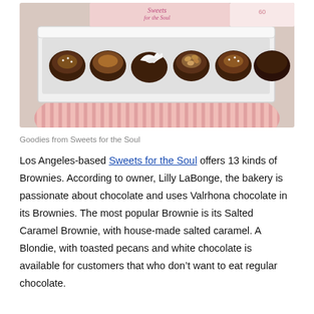[Figure (photo): A white rectangular box tray containing six chocolate brownies/truffles of various toppings (salted caramel, white cream swirl, toasted pecans, plain chocolate) sitting on a pink striped circular plate. A pink 'Sweets for the Soul Handmade Desserts' branded box is visible in the background.]
Goodies from Sweets for the Soul
Los Angeles-based Sweets for the Soul offers 13 kinds of Brownies. According to owner, Lilly LaBonge, the bakery is passionate about chocolate and uses Valrhona chocolate in its Brownies. The most popular Brownie is its Salted Caramel Brownie, with house-made salted caramel. A Blondie, with toasted pecans and white chocolate is available for customers that who don't want to eat regular chocolate.